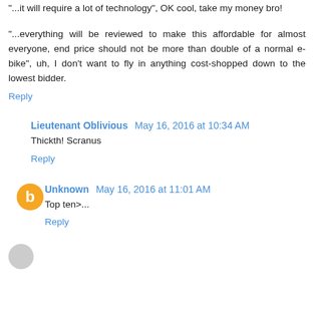"...it will require a lot of technology", OK cool, take my money bro!
"...everything will be reviewed to make this affordable for almost everyone, end price should not be more than double of a normal e-bike", uh, I don't want to fly in anything cost-shopped down to the lowest bidder.
Reply
Lieutenant Oblivious  May 16, 2016 at 10:34 AM
Thickth! Scranus
Reply
Unknown  May 16, 2016 at 11:01 AM
Top ten>...
Reply